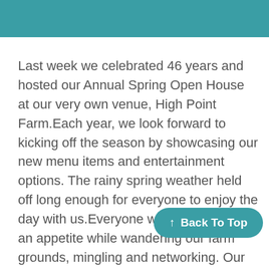Last week we celebrated 46 years and hosted our Annual Spring Open House at our very own venue, High Point Farm.Each year, we look forward to kicking off the season by showcasing our new menu items and entertainment options. The rainy spring weather held off long enough for everyone to enjoy the day with us.Everyone worked up quite an appetite while wandering our farm grounds, mingling and networking. Our talented chefs had prepared over 50 menu items from formal hors d'oe... our guests to snack on; including a sampling of our mac and cheese station and fresh out-of-